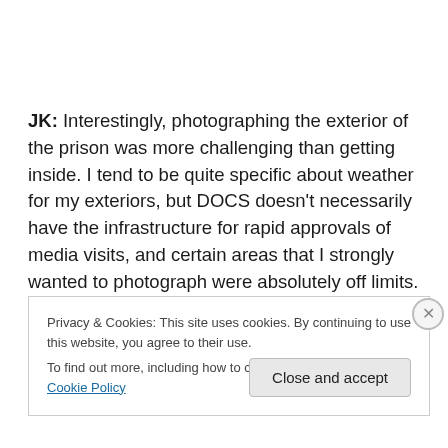JK: Interestingly, photographing the exterior of the prison was more challenging than getting inside. I tend to be quite specific about weather for my exteriors, but DOCS doesn't necessarily have the infrastructure for rapid approvals of media visits, and certain areas that I strongly wanted to photograph were absolutely off limits.
Privacy & Cookies: This site uses cookies. By continuing to use this website, you agree to their use. To find out more, including how to control cookies, see here: Cookie Policy
Close and accept